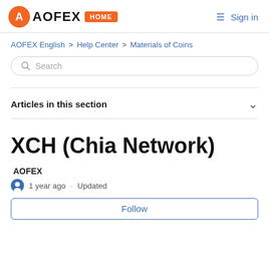AOFEX HOME  Sign in
AOFEX English > Help Center > Materials of Coins
Search
Articles in this section
XCH (Chia Network)
AOFEX
1 year ago · Updated
Follow